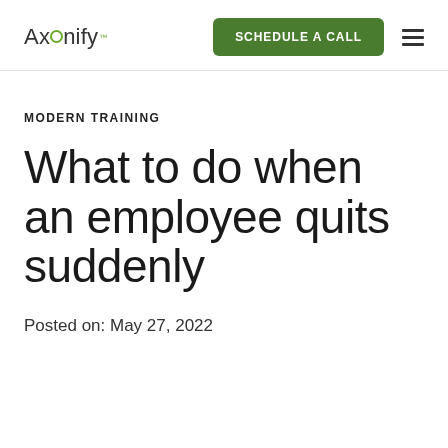Axonify | SCHEDULE A CALL
MODERN TRAINING
What to do when an employee quits suddenly
Posted on: May 27, 2022